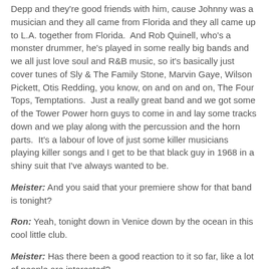Depp and they're good friends with him, cause Johnny was a musician and they all came from Florida and they all came up to L.A. together from Florida.  And Rob Quinell, who's a monster drummer, he's played in some really big bands and we all just love soul and R&B music, so it's basically just cover tunes of Sly & The Family Stone, Marvin Gaye, Wilson Pickett, Otis Redding, you know, on and on and on, The Four Tops, Temptations.  Just a really great band and we got some of the Tower Power horn guys to come in and lay some tracks down and we play along with the percussion and the horn parts.  It's a labour of love of just some killer musicians playing killer songs and I get to be that black guy in 1968 in a shiny suit that I've always wanted to be.
Meister: And you said that your premiere show for that band is tonight?
Ron: Yeah, tonight down in Venice down by the ocean in this cool little club.
Meister: Has there been a good reaction to it so far, like a lot of people are interested?